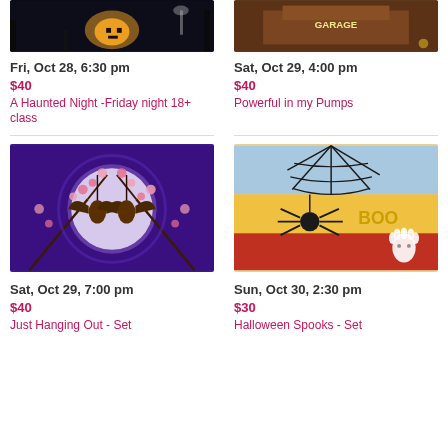[Figure (illustration): Halloween night scene with glowing jack-o-lantern, dark trees, wine glass silhouette]
[Figure (illustration): Colorful painting of a garage/barn with text, warm brown tones]
Fri, Oct 28, 6:30 pm
$40
A Haunted Night -Friday night 18+ class
Sat, Oct 29, 4:00 pm
$40
Powerful in my Pumps
[Figure (illustration): Two bats hanging upside down surrounded by cherry blossom flowers in a purple moonlit scene]
[Figure (illustration): Spider web with black spider, BOO text, ghost, on colorful striped background of blue, yellow, red]
Sat, Oct 29, 7:00 pm
$40
Just Hanging Out - Set
Sun, Oct 30, 2:30 pm
$30
Halloween Spooks - Set